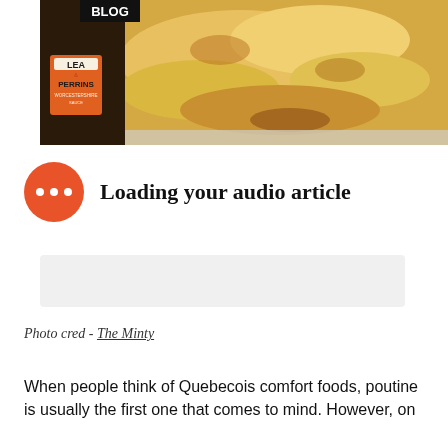[Figure (photo): Food blog page showing a baked dish with melted cheese and a Lea & Perrins Worcestershire Sauce bottle on the left. A 'BLOG' logo appears in the top-left corner of the image.]
Loading your audio article
[Figure (other): Gray audio article player bar placeholder]
Photo cred - The Minty
When people think of Quebecois comfort foods, poutine is usually the first one that comes to mind. However, on